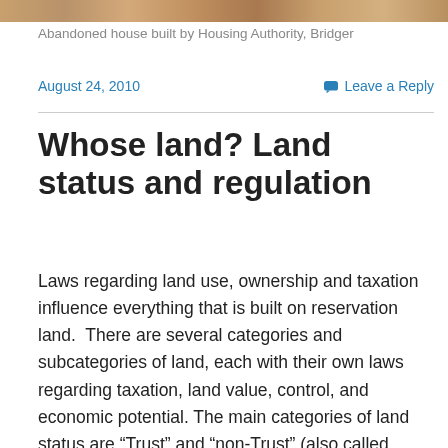[Figure (photo): Strip of a photo showing an abandoned house built by Housing Authority, Bridger — visible as a brown/tan building facade.]
Abandoned house built by Housing Authority, Bridger
August 24, 2010
Leave a Reply
Whose land? Land status and regulation
Laws regarding land use, ownership and taxation influence everything that is built on reservation land.  There are several categories and subcategories of land, each with their own laws regarding taxation, land value, control, and economic potential. The main categories of land status are “Trust” and “non-Trust” (also called Deeded or Fee). The concept of “trust” goes back to the creation of reservations by the Federal Government, as an attempt to